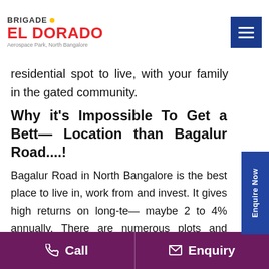BRIGADE EL DORADO – Aerospace Park, North Bangalore
residential spot to live, with your family in the gated community.
Why it's Impossible To Get a Better Location than Bagalur Road....!
Bagalur Road in North Bangalore is the best place to live in, work from and invest. It gives high returns on long-term, maybe 2 to 4% annually. There are numerous plots and apartments of all sizes and configurations starting from 46 lakhs. There are plenty of developments happening from the builders and the state government.
There are reputed schools and hospitals in the area. The
Call   Enquiry